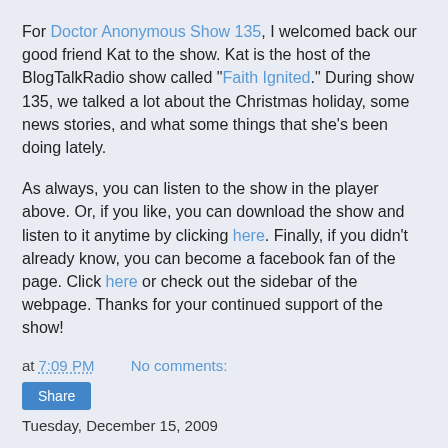For Doctor Anonymous Show 135, I welcomed back our good friend Kat to the show. Kat is the host of the BlogTalkRadio show called "Faith Ignited." During show 135, we talked a lot about the Christmas holiday, some news stories, and what some things that she's been doing lately.
As always, you can listen to the show in the player above. Or, if you like, you can download the show and listen to it anytime by clicking here. Finally, if you didn't already know, you can become a facebook fan of the page. Click here or check out the sidebar of the webpage. Thanks for your continued support of the show!
at 7:09 PM   No comments:
Share
Tuesday, December 15, 2009